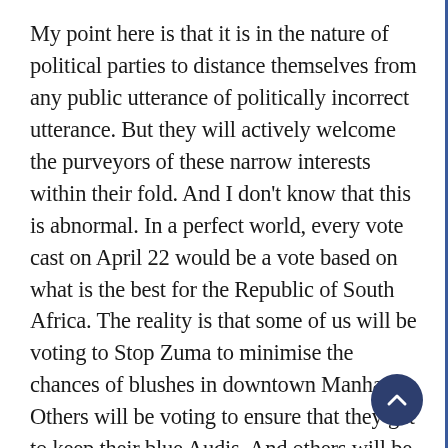My point here is that it is in the nature of political parties to distance themselves from any public utterance of politically incorrect utterance. But they will actively welcome the purveyors of these narrow interests within their fold. And I don't know that this is abnormal. In a perfect world, every vote cast on April 22 would be a vote based on what is the best for the Republic of South Africa. The reality is that some of us will be voting to Stop Zuma to minimise the chances of blushes in downtown Manhattan. Others will be voting to ensure that they get to keep their blue Audis. And others will be voting to ensure that only Jacks and Jills conjoin in South Africans bedrooms — preferably missionary style as is consistent with the Old Testament teachings in the Holy book